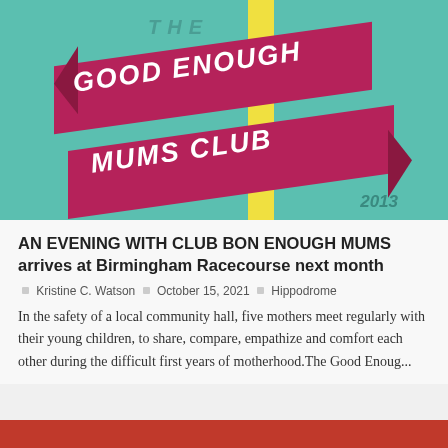[Figure (logo): The Good Enough Mums Club logo — teal background with yellow vertical bar, two diagonal magenta/crimson ribbon banners reading 'GOOD ENOUGH' and 'MUMS CLUB', with 'THE' above and '2013' below]
AN EVENING WITH CLUB BON ENOUGH MUMS arrives at Birmingham Racecourse next month
Kristine C. Watson  October 15, 2021  Hippodrome
In the safety of a local community hall, five mothers meet regularly with their young children, to share, compare, empathize and comfort each other during the difficult first years of motherhood.The Good Enoug...